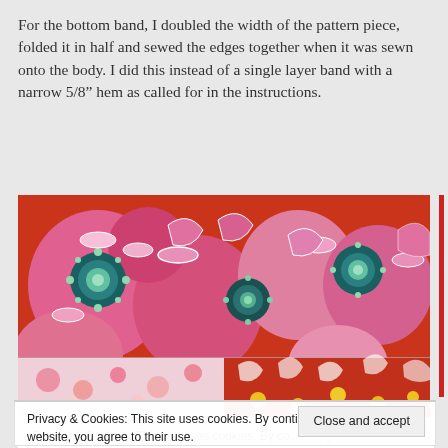For the bottom band, I doubled the width of the pattern piece, folded it in half and sewed the edges together when it was sewn onto the body. I did this instead of a single layer band with a narrow 5/8" hem as called for in the instructions.
[Figure (photo): Close-up photograph of colorful floral fabric showing pink, orange, red, and teal flower patterns sewn together, displaying the bottom band construction.]
Privacy & Cookies: This site uses cookies. By continuing to use this website, you agree to their use.
To find out more, including how to control cookies, see here: Cookie Policy
Close and accept